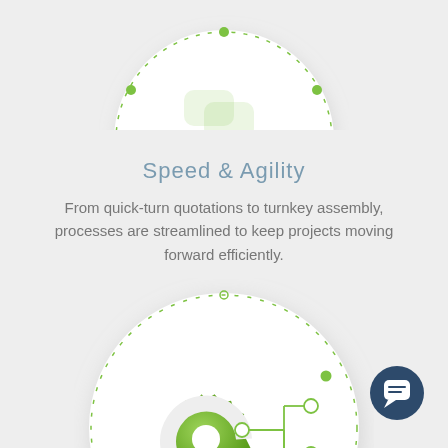[Figure (illustration): Partially visible circular icon with green dotted orbit ring, top portion only visible, white circle with light shadow on grey background]
Speed & Agility
From quick-turn quotations to turnkey assembly, processes are streamlined to keep projects moving forward efficiently.
[Figure (illustration): Large circular icon with green gear/cog and circuit-board technology network lines and nodes icon, encircled by green dotted orbit ring, white circle with shadow on grey background]
[Figure (illustration): Dark navy blue circular chat/messaging button with speech bubble icon, bottom right corner]